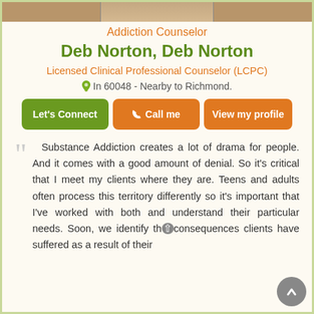[Figure (photo): Partial photo of Deb Norton at the top of the card, cropped]
Addiction Counselor
Deb Norton, Deb Norton
Licensed Clinical Professional Counselor (LCPC)
In 60048 - Nearby to Richmond.
[Figure (infographic): Three buttons: Let's Connect (green), Call me (orange), View my profile (orange)]
Substance Addiction creates a lot of drama for people. And it comes with a good amount of denial. So it's critical that I meet my clients where they are. Teens and adults often process this territory differently so it's important that I've worked with both and understand their particular needs. Soon, we identify the consequences clients have suffered as a result of their